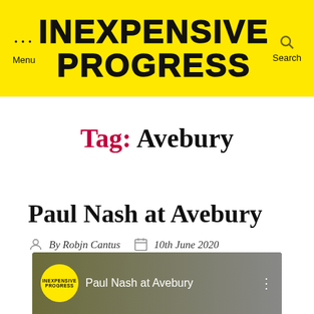INEXPENSIVE PROGRESS
Tag: Avebury
Paul Nash at Avebury
By Robjn Cantus  10th June 2020
[Figure (screenshot): Video thumbnail showing Paul Nash at Avebury with yellow circular logo and title text]